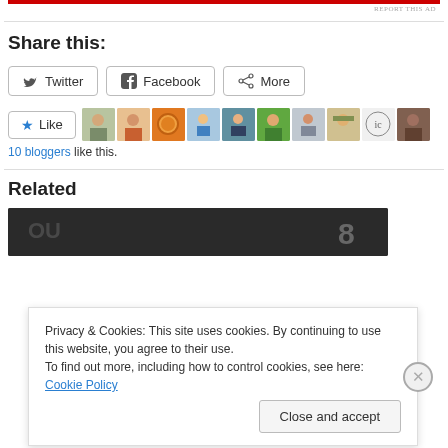[Figure (other): Red advertisement banner bar at top]
Share this:
[Figure (other): Share buttons: Twitter, Facebook, More]
[Figure (other): Like button with star icon and row of 10 blogger avatar images]
10 bloggers like this.
Related
[Figure (photo): Partial photo of dark fabric/jersey with number visible, related article image]
Privacy & Cookies: This site uses cookies. By continuing to use this website, you agree to their use.
To find out more, including how to control cookies, see here: Cookie Policy